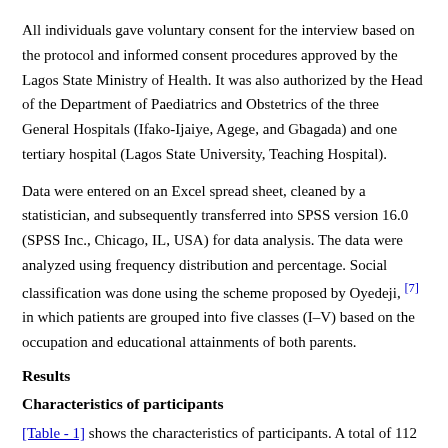All individuals gave voluntary consent for the interview based on the protocol and informed consent procedures approved by the Lagos State Ministry of Health. It was also authorized by the Head of the Department of Paediatrics and Obstetrics of the three General Hospitals (Ifako-Ijaiye, Agege, and Gbagada) and one tertiary hospital (Lagos State University, Teaching Hospital).
Data were entered on an Excel spread sheet, cleaned by a statistician, and subsequently transferred into SPSS version 16.0 (SPSS Inc., Chicago, IL, USA) for data analysis. The data were analyzed using frequency distribution and percentage. Social classification was done using the scheme proposed by Oyedeji, [7] in which patients are grouped into five classes (I–V) based on the occupation and educational attainments of both parents.
Results
Characteristics of participants
[Table - 1] shows the characteristics of participants. A total of 112 participants, 66 (58.93%) and 46 (41.07%) referred from government-owned and private for-profit PHC facilities respectively. This to the account of the participants who had...